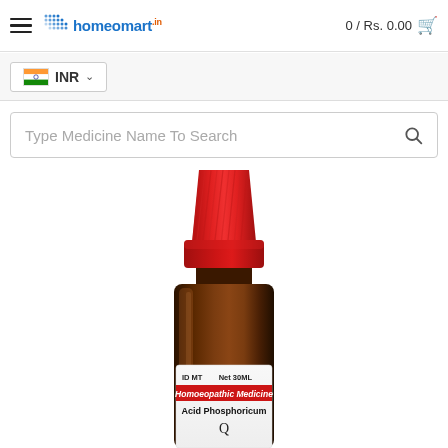homeomart | 0 / Rs. 0.00
INR
Type Medicine Name To Search
[Figure (photo): A homeopathic medicine bottle with red cap (dropper top), amber glass body, white label reading 'ID MT Net 30ML / Homoeopathic Medicine / Acid Phosphoricum / Q' with a red stripe on the label. Brand appears to be SBL or similar.]